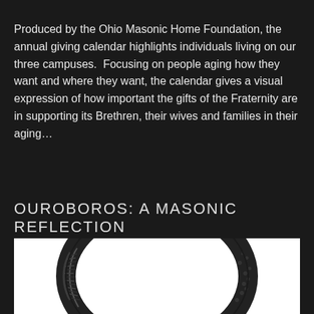Produced by the Ohio Masonic Home Foundation, the annual giving calendar highlights individuals living on our three campuses.  Focusing on people aging how they want and where they want, the calendar gives a visual expression of how important the gifts of the Fraternity are in supporting its Brethren, their wives and families in their aging…
READ MORE
OUROBOROS: A MASONIC REFLECTION
[Figure (illustration): Black and white illustration of an ouroboros (snake eating its own tail), showing the serpentine body in a circular form against a white background, partially cropped at the bottom of the page.]